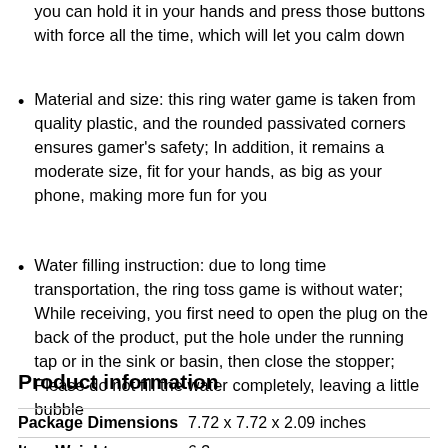you can hold it in your hands and press those buttons with force all the time, which will let you calm down
Material and size: this ring water game is taken from quality plastic, and the rounded passivated corners ensures gamer's safety; In addition, it remains a moderate size, fit for your hands, as big as your phone, making more fun for you
Water filling instruction: due to long time transportation, the ring toss game is without water; While receiving, you first need to open the plug on the back of the product, put the hole under the running tap or in the sink or basin, then close the stopper; Please do not fill the water completely, leaving a little bubble
Product information
|  |  |
| --- | --- |
| Package Dimensions | 7.72 x 7.72 x 2.09 inches |
| Item Weight | 6.3 ounces |